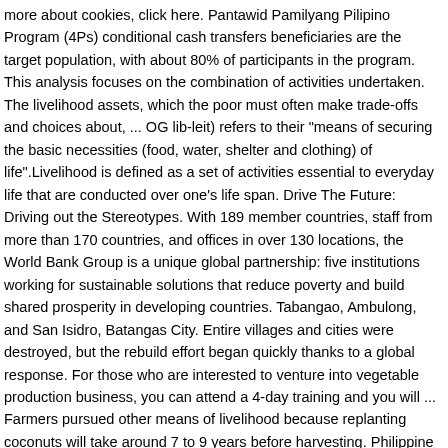more about cookies, click here. Pantawid Pamilyang Pilipino Program (4Ps) conditional cash transfers beneficiaries are the target population, with about 80% of participants in the program. This analysis focuses on the combination of activities undertaken. The livelihood assets, which the poor must often make trade-offs and choices about, ... OG lib-leit) refers to their "means of securing the basic necessities (food, water, shelter and clothing) of life".Livelihood is defined as a set of activities essential to everyday life that are conducted over one's life span. Drive The Future: Driving out the Stereotypes. With 189 member countries, staff from more than 170 countries, and offices in over 130 locations, the World Bank Group is a unique global partnership: five institutions working for sustainable solutions that reduce poverty and build shared prosperity in developing countries. Tabangao, Ambulong, and San Isidro, Batangas City. Entire villages and cities were destroyed, but the rebuild effort began quickly thanks to a global response. For those who are interested to venture into vegetable production business, you can attend a 4-day training and you will ... Farmers pursued other means of livelihood because replanting coconuts will take around 7 to 9 years before harvesting. Philippine gold, nickel, copper, palladium and chromite deposits are among the largest in the world. MANILA – The Department of Agriculture (DA) and the Armed Forces of the Philippines (AFP) on Tuesday launched four livelihood projects for soldiers and their dependents residing at the AFP headquarters in Camp Aguinaldo, Quezon City. The storm affected